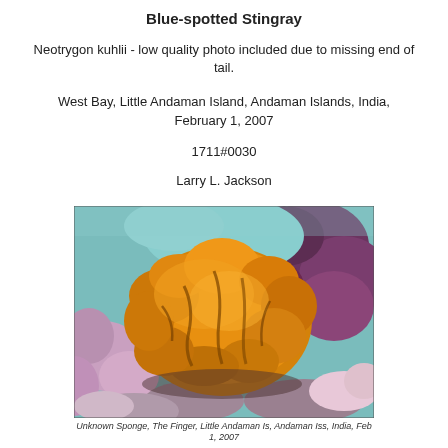Blue-spotted Stingray
Neotrygon kuhlii - low quality photo included due to missing end of tail.
West Bay, Little Andaman Island, Andaman Islands, India, February 1, 2007
1711#0030
Larry L. Jackson
[Figure (photo): Underwater photo of an unknown orange/yellow sponge on a coral reef, The Finger, Little Andaman Island, Andaman Islands, India, February 1, 2007]
Unknown Sponge, The Finger, Little Andaman Is, Andaman Iss, India, Feb 1, 2007